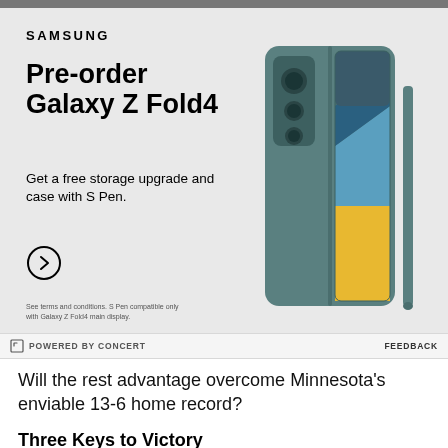[Figure (photo): Dark photo strip at top of page]
[Figure (illustration): Samsung advertisement for Galaxy Z Fold4 pre-order. Shows Samsung logo, headline 'Pre-order Galaxy Z Fold4', subtext 'Get a free storage upgrade and case with S Pen.', a circular arrow button, and an image of the Samsung Galaxy Z Fold4 phone in teal/grey color with S Pen and case. Disclaimer at bottom: 'See terms and conditions. S Pen compatible only with Galaxy Z Fold4 main display.']
POWERED BY CONCERT   FEEDBACK
Will the rest advantage overcome Minnesota's enviable 13-6 home record?
Three Keys to Victory